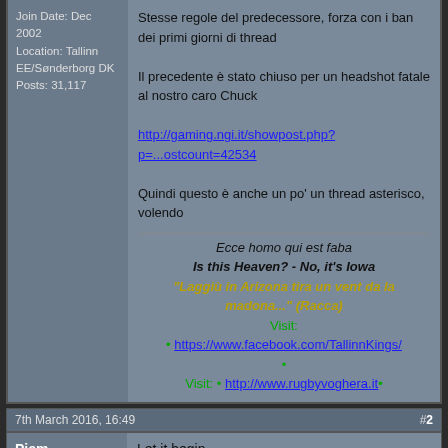Stesse regole del predecessore, forza con i ban dei primi giorni di thread

Il precedente è stato chiuso per un headshot fatale al nostro caro Chuck

http://gaming.ngi.it/showpost.php?p=...ostcount=42534

Quindi questo è anche un po' un thread asterisco, volendo
Ecce homo qui est faba
Is this Heaven? - No, it's Iowa
"Laggiù in Arizona tira un vent da la madona..." (Racca)
Visit:
• https://www.facebook.com/TallinnKings/
•
Visit: • http://www.rugbyvoghera.it •
Join Date: Dec 2002
Location: Tallinn EE/Sønderborg DK
Posts: 31,117
7th March 2016, 16:49
#2
Pjem
La gaia scienza
Let it begin
[Figure (illustration): Anime girl character with brown hair pointing, with large text 'YOU' on the right side, on a beige background]